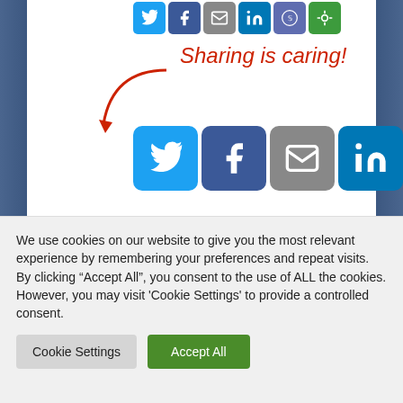[Figure (screenshot): Social media share icons row (small): Twitter, Facebook, Email, LinkedIn, Reddit, Other at top]
Sharing is caring!
[Figure (screenshot): Social media share icons (large): Twitter, Facebook, Email, LinkedIn, Reddit, Other]
FILED UNDER: BITCOIN NEWS
TAGGED WITH: BITCOIN, DATA, EVIDENCE, HODL, MANIPULATION, PRICE, SHOWS, WHALES
We use cookies on our website to give you the most relevant experience by remembering your preferences and repeat visits. By clicking "Accept All", you consent to the use of ALL the cookies. However, you may visit 'Cookie Settings' to provide a controlled consent.